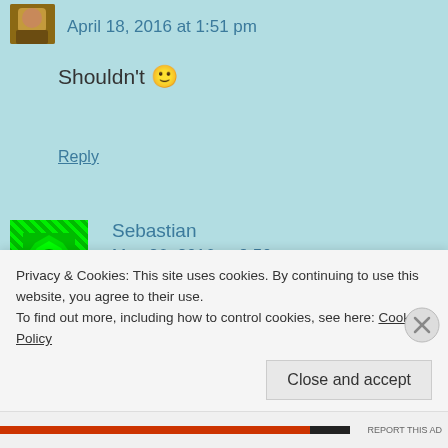April 18, 2016 at 1:51 pm
Shouldn't 🙂
Reply
Sebastian
May 26, 2016 at 8:50 pm
Privacy & Cookies: This site uses cookies. By continuing to use this website, you agree to their use.
To find out more, including how to control cookies, see here: Cookie Policy
Close and accept